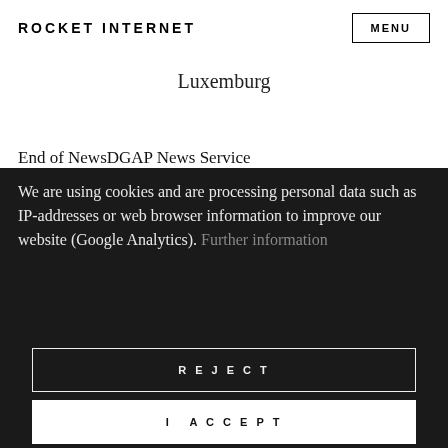ROCKET INTERNET
Luxemburg
End of NewsDGAP News Service
We are using cookies and are processing personal data such as IP-addresses or web browser information to improve our website (Google Analytics). Further information
REJECT
I ACCEPT